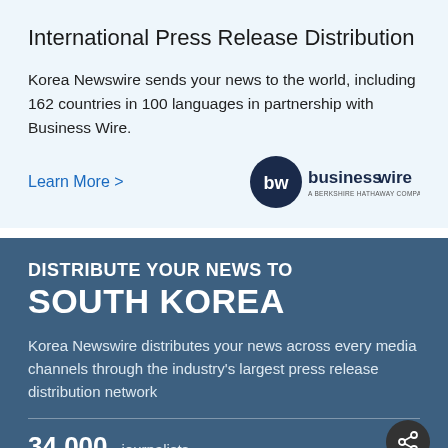International Press Release Distribution
Korea Newswire sends your news to the world, including 162 countries in 100 languages in partnership with Business Wire.
Learn More >
[Figure (logo): Business Wire logo — circular dark navy icon with 'bw' text and 'businesswire a berkshire hathaway company' wordmark]
DISTRIBUTE YOUR NEWS TO SOUTH KOREA
Korea Newswire distributes your news across every media channels through the industry's largest press release distribution network
34,000  journalists